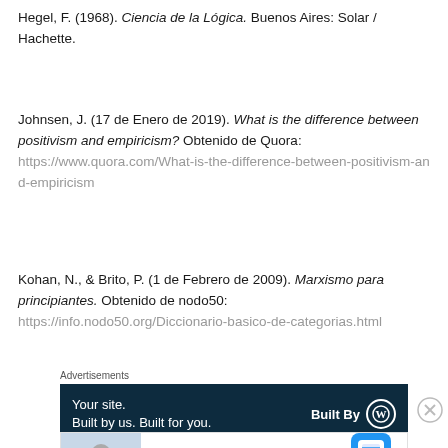Hegel, F. (1968). Ciencia de la Lógica. Buenos Aires: Solar / Hachette.
Johnsen, J. (17 de Enero de 2019). What is the difference between positivism and empiricism? Obtenido de Quora: https://www.quora.com/What-is-the-difference-between-positivism-and-empiricism
Kohan, N., & Brito, P. (1 de Febrero de 2009). Marxismo para principiantes. Obtenido de nodo50: https://info.nodo50.org/Diccionario-basico-de-categorias.html
[Figure (screenshot): Advertisement banner: dark navy background with white text 'Your site. Built by us. Built for you.' and 'Built By' followed by WordPress logo]
[Figure (screenshot): Advertisement banner: 'Over 150,000 5-star reviews' with DayOne Journal logo and a photo of a person]